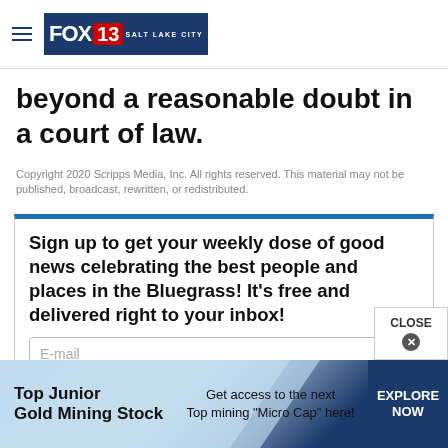FOX 13 SALT LAKE CITY
beyond a reasonable doubt in a court of law.
Copyright 2020 Scripps Media, Inc. All rights reserved. This material may not be published, broadcast, rewritten, or redistributed.
Sign up to get your weekly dose of good news celebrating the best people and places in the Bluegrass! It's free and delivered right to your inbox!
E-mail
[Figure (other): Ad banner: Top Junior Gold Mining Stock — Get access to the next Top mining "Micro Cap" here! EXPLORE NOW]